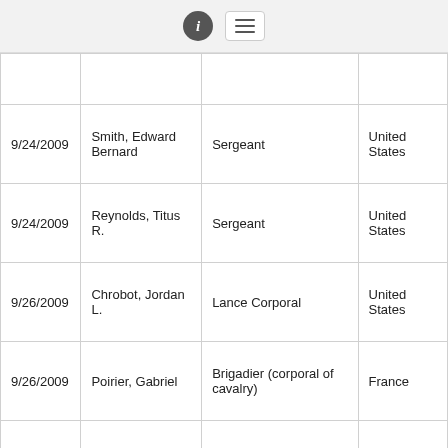info and menu icons
| Date | Name | Rank | Country |
| --- | --- | --- | --- |
|  |  |  |  |
| 9/24/2009 | Smith, Edward Bernard | Sergeant | United States |
| 9/24/2009 | Reynolds, Titus R. | Sergeant | United States |
| 9/26/2009 | Chrobot, Jordan L. | Lance Corporal | United States |
| 9/26/2009 | Poirier, Gabriel | Brigadier (corporal of cavalry) | France |
| 9/26/2009 | Hertach, Yann | Adjudant (Warrant Officer) | France |
| 9/26/2009 | Lemoine, Kevin | Soldat 1ère classe (PFC) | France |